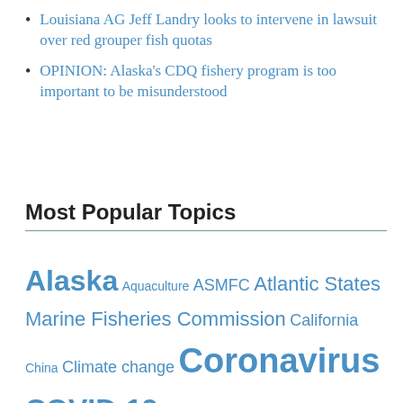Louisiana AG Jeff Landry looks to intervene in lawsuit over red grouper fish quotas
OPINION: Alaska's CDQ fishery program is too important to be misunderstood
Most Popular Topics
Alaska Aquaculture ASMFC Atlantic States Marine Fisheries Commission California China Climate change Coronavirus COVID-19 Donald Trump groundfish Gulf of Maine Gulf of Mexico Illegal fishing IUU fishing Lobster Maine Massachusetts Mid-Atlantic